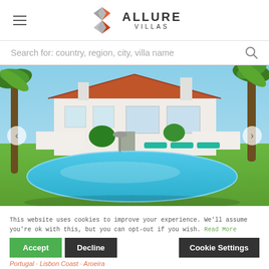[Figure (logo): Allure Villas logo with orange and grey diamond/arrow shapes and text ALLURE VILLAS]
Search for: country, region, city, villa name
[Figure (photo): A white Portuguese villa with terracotta roof, palm trees, lush green garden, turquoise swimming pool, and sun loungers. Slider arrows visible on left and right.]
This website uses cookies to improve your experience. We'll assume you're ok with this, but you can opt-out if you wish. Read More
Accept
Decline
Cookie Settings
Portugal · Lisbon Coast · Aroeira